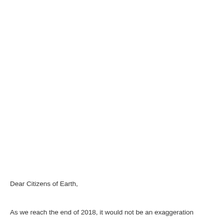Dear Citizens of Earth,
As we reach the end of 2018, it would not be an exaggeration